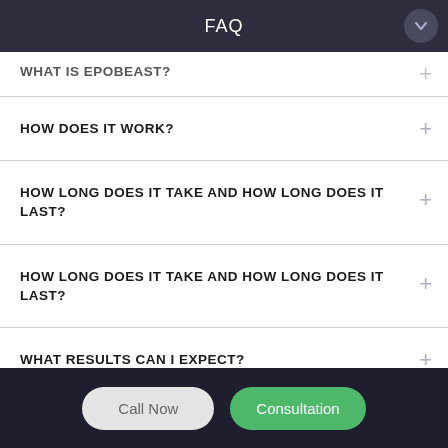FAQ
WHAT IS EPOBEAST?
HOW DOES IT WORK?
HOW LONG DOES IT TAKE AND HOW LONG DOES IT LAST?
HOW LONG DOES IT TAKE AND HOW LONG DOES IT LAST?
WHAT RESULTS CAN I EXPECT?
Call Now
Consultation